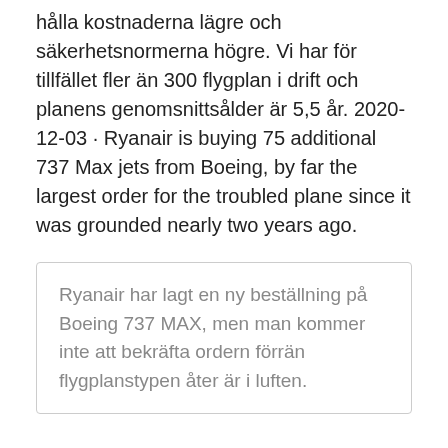hålla kostnaderna lägre och säkerhetsnormerna högre. Vi har för tillfället fler än 300 flygplan i drift och planens genomsnittsålder är 5,5 år. 2020-12-03 · Ryanair is buying 75 additional 737 Max jets from Boeing, by far the largest order for the troubled plane since it was grounded nearly two years ago.
Ryanair har lagt en ny beställning på Boeing 737 MAX, men man kommer inte att bekräfta ordern förrän flygplanstypen åter är i luften.
Källor: Ryanair planerar att utöka stororder på Boeing 737 Max...